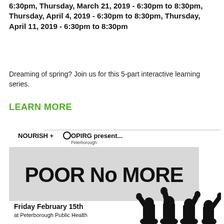6:30pm, Thursday, March 21, 2019 - 6:30pm to 8:30pm, Thursday, April 4, 2019 - 6:30pm to 8:30pm, Thursday, April 11, 2019 - 6:30pm to 8:30pm
Dreaming of spring? Join us for this 5-part interactive learning series.
LEARN MORE
[Figure (illustration): Event poster for 'Poor No More' presented by NOURISH + OPIRG Peterborough. Features a banner reading 'POOR NO MORE' in large bold letters, with silhouette figures of protesters raising fists. Text reads: Friday February 15th at Peterborough Public Health.]